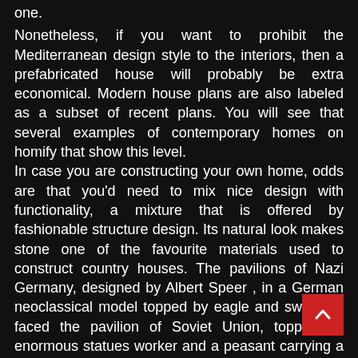one.
Nonetheless, if you want to prohibit the Mediterranean design style to the interiors, then a prefabricated house will probably be extra economical. Modern house plans are also labeled as a subset of recent plans. You will see that several examples of contemporary homes on homify that show this level.
In case you are constructing your own home, odds are that you'd need to mix nice design with functionality, a mixture that is offered by fashionable structure design. Its natural look makes stone one of the favourite materials used to construct country houses. The pavilions of Nazi Germany, designed by Albert Speer , in a German neoclassical model topped by eagle and swastika, faced the pavilion of Soviet Union, topped by enormous statues worker and a peasant carrying a hammer and sickle.